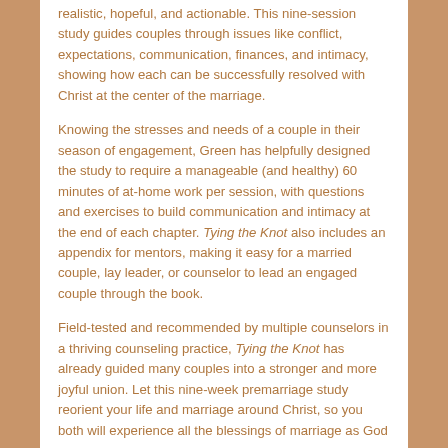realistic, hopeful, and actionable. This nine-session study guides couples through issues like conflict, expectations, communication, finances, and intimacy, showing how each can be successfully resolved with Christ at the center of the marriage.
Knowing the stresses and needs of a couple in their season of engagement, Green has helpfully designed the study to require a manageable (and healthy) 60 minutes of at-home work per session, with questions and exercises to build communication and intimacy at the end of each chapter. Tying the Knot also includes an appendix for mentors, making it easy for a married couple, lay leader, or counselor to lead an engaged couple through the book.
Field-tested and recommended by multiple counselors in a thriving counseling practice, Tying the Knot has already guided many couples into a stronger and more joyful union. Let this nine-week premarriage study reorient your life and marriage around Christ, so you both will experience all the blessings of marriage as God